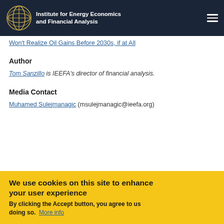Institute for Energy Economics and Financial Analysis
Won't Realize Oil Gains Before 2030s, if at All
Author
Tom Sanzillo is IEEFA's director of financial analysis.
Media Contact
Muhamed Sulejmanagic (msulejmanagic@ieefa.org)
We use cookies on this site to enhance your user experience By clicking the Accept button, you agree to us doing so. More info